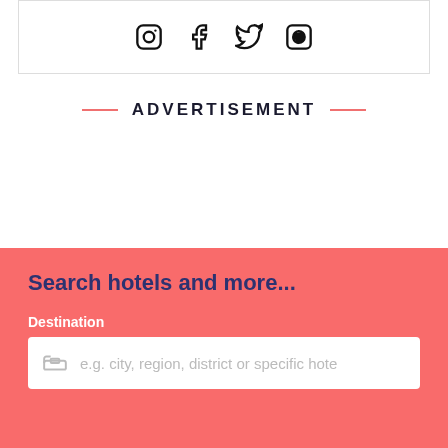[Figure (illustration): Social media icons: Instagram, Facebook, Twitter, Pinterest inside a bordered box]
ADVERTISEMENT
Search hotels and more...
Destination
e.g. city, region, district or specific hote